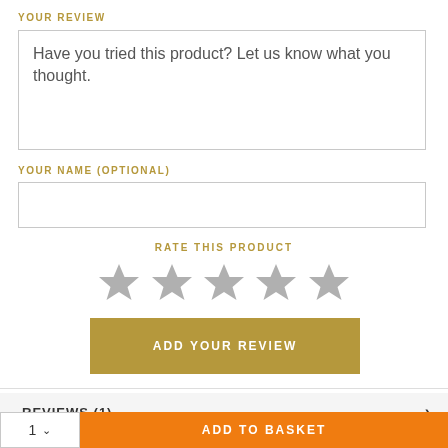YOUR REVIEW
Have you tried this product? Let us know what you thought.
YOUR NAME (OPTIONAL)
RATE THIS PRODUCT
[Figure (illustration): Five grey star rating icons in a row]
ADD YOUR REVIEW
REVIEWS (1)
1   ADD TO BASKET